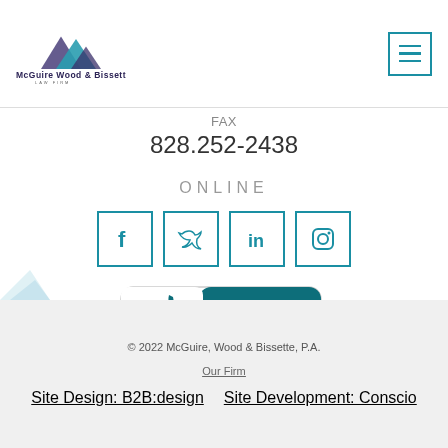[Figure (logo): McGuire Wood & Bissette Law Firm logo with triangular mountain graphic in purple and teal]
FAX
828.252-2438
ONLINE
[Figure (infographic): Four social media icon boxes: Facebook, Twitter, LinkedIn, Instagram — outlined in teal]
[Figure (logo): BBB Accredited Business badge with torch logo in teal/dark teal]
BBB RATING: A+
© 2022 McGuire, Wood & Bissette, P.A.
Our Firm
Site Design: B2B:design   Site Development: Conscio